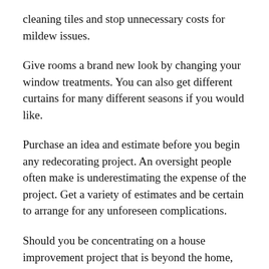cleaning tiles and stop unnecessary costs for mildew issues.
Give rooms a brand new look by changing your window treatments. You can also get different curtains for many different seasons if you would like.
Purchase an idea and estimate before you begin any redecorating project. An oversight people often make is underestimating the expense of the project. Get a variety of estimates and be certain to arrange for any unforeseen complications.
Should you be concentrating on a house improvement project that is beyond the home, make sure you don't do just about anything to help make your house too not the same as the neighbors. If your property sticks out in a negative way, it